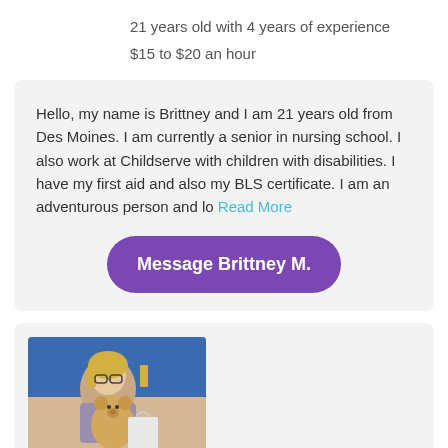21 years old with 4 years of experience
$15 to $20 an hour
Hello, my name is Brittney and I am 21 years old from Des Moines. I am currently a senior in nursing school. I also work at Childserve with children with disabilities. I have my first aid and also my BLS certificate. I am an adventurous person and lo Read More
Message Brittney M.
[Figure (photo): A young woman with blonde hair and glasses holding a large stuffed teddy bear, photographed in what appears to be a store or classroom setting with blue shelves in the background.]